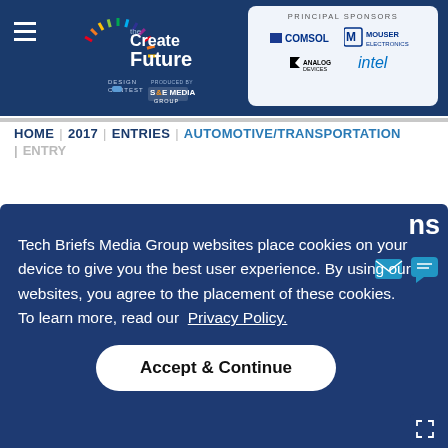Create the Future Design Contest — Principal Sponsors: COMSOL, Mouser Electronics, Analog Devices, Intel
HOME | 2017 | ENTRIES | AUTOMOTIVE/TRANSPORTATION | ENTRY
Tech Briefs Media Group websites place cookies on your device to give you the best user experience. By using our websites, you agree to the placement of these cookies. To learn more, read our Privacy Policy.
Accept & Continue